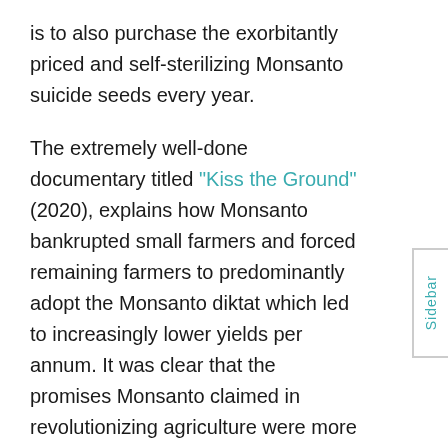is to also purchase the exorbitantly priced and self-sterilizing Monsanto suicide seeds every year.
The extremely well-done documentary titled "Kiss the Ground" (2020), explains how Monsanto bankrupted small farmers and forced remaining farmers to predominantly adopt the Monsanto diktat which led to increasingly lower yields per annum. It was clear that the promises Monsanto claimed in revolutionizing agriculture were more destructive than anything. This documentary also goes through how our understanding of C02 in the natural cycle of vegetation ecosystems and agriculture is presently severely misunderstood.
"The Cattle Site" writes referring to the report